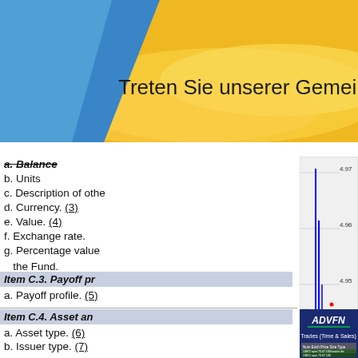[Figure (screenshot): Top banner with blue and gold gradient background and text 'Treten Sie unserer Gemeinschaft bei']
a. Balance
b. Units
c. Description of other
d. Currency. (3)
e. Value. (4)
f. Exchange rate.
g. Percentage value of the Fund.
Item C.3. Payoff profile
a. Payoff profile. (5)
Item C.4. Asset and issuer type
a. Asset type. (6)
b. Issuer type. (7)
Item C.5. Country
a. ISO country code.
b. Investment ISO code
Item C.6. Is the investment
a. Is the investment
[Figure (line-chart): Stock price line chart from ADVFN showing price range 4.93-4.97, x-axis from 1100 to 2100+]
[Figure (screenshot): ADVFN Trades (Time & Sales) panel showing a dark blue header with ADVFN logo and a trades table with columns Num, Exch., Price, Size, Type, C, T, Bid, Offer, Time and rows of trade data including basket dtc trades at nyse at price 70.]